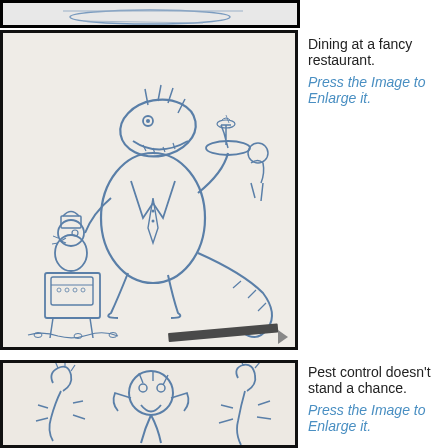[Figure (illustration): Partial view of a pencil/blue-ink sketch illustration at top of page, cropped]
[Figure (illustration): Blue ink sketch of an anthropomorphic alligator/crocodile dressed as a fancy restaurant waiter, holding a tray with a cocktail glass, with a small bird character at a podium and a dragon/serpent tail, and a pencil visible at bottom]
Dining at a fancy restaurant.
Press the Image to Enlarge it.
[Figure (illustration): Partial view of a blue ink sketch showing anthropomorphic dragon/lizard characters, cropped at bottom of page]
Pest control doesn't stand a chance.
Press the Image to Enlarge it.